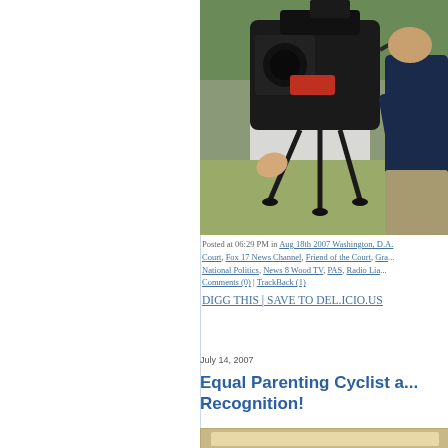[Figure (photo): Outdoor photo of a person operating a large professional video camera on a tripod, with green trees and lawn in background. Another person visible on right in dark shirt.]
Posted at 06:29 PM in Aug 18th 2007 Washington, D.A. Court, Fox 17 News Channel, Friend of the Court, Gra... National Politics, News 8 Wood TV, PAS, Radio Lia... Comments (0) | TrackBack (1)
DIGG THIS | SAVE TO DEL.ICIO.US
July 14, 2007
Equal Parenting Cyclist a... Recognition!
[Figure (photo): Bottom portion of a framed certificate or award document, partially visible.]